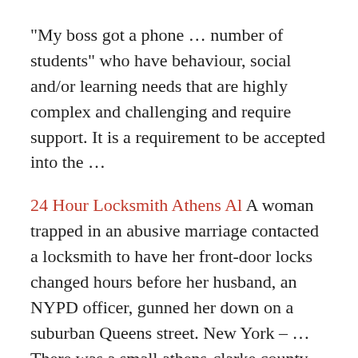"My boss got a phone … number of students" who have behaviour, social and/or learning needs that are highly complex and challenging and require support. It is a requirement to be accepted into the …
24 Hour Locksmith Athens Al A woman trapped in an abusive marriage contacted a locksmith to have her front-door locks changed hours before her husband, an NYPD officer, gunned her down on a suburban Queens street. New York – … There was a small athens-clarke county police presence among the crowd near Five Guys but no violence or confrontation has
Locked out or need a new lock? Find emergency and local locksmiths who can help get you in, or out. Start searching now in Salisbury, SA 5108, which includes Salisbury Locksmiths, A Class Locksmiths